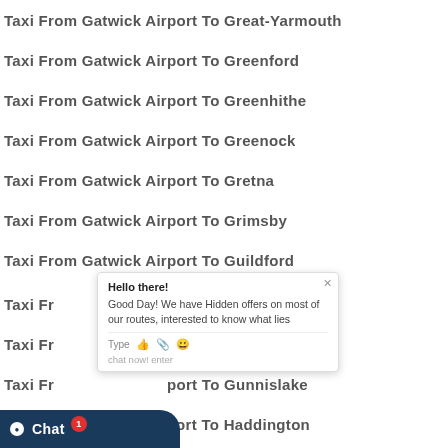Taxi From Gatwick Airport To Great-Yarmouth
Taxi From Gatwick Airport To Greenford
Taxi From Gatwick Airport To Greenhithe
Taxi From Gatwick Airport To Greenock
Taxi From Gatwick Airport To Gretna
Taxi From Gatwick Airport To Grimsby
Taxi From Gatwick Airport To Guildford
Taxi From Gatwick Airport To Guisborough
Taxi From Gatwick Airport To Gullane
Taxi From Gatwick Airport To Gunnislake
Taxi From Gatwick Airport To Haddington